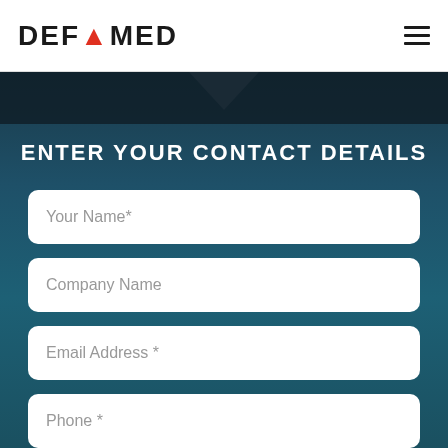[Figure (logo): DEFAMED logo with red A and dark text, hamburger menu icon on right]
ENTER YOUR CONTACT DETAILS
Your Name*
Company Name
Email Address *
Phone *